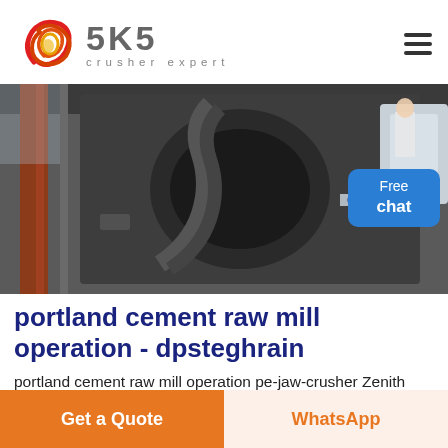[Figure (logo): SKS crusher expert logo with red swirl icon and gray SKS text with 'crusher expert' subtitle]
[Figure (photo): Industrial crusher/mill machinery in a factory setting, showing large dark metal equipment with a person visible in the background near white industrial structures]
portland cement raw mill operation - dpsteghrain
portland cement raw mill operation pe-jaw-crusher Zenith screen can separate the stuff of different size range It is the most general
Get a Quote
WhatsApp